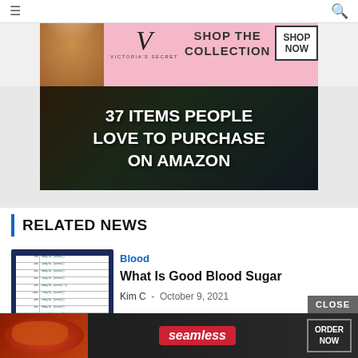[Figure (screenshot): Victoria's Secret advertisement banner with model, VS logo, 'SHOP THE COLLECTION' text and 'SHOP NOW' button on pink background]
[Figure (screenshot): Amazon promotional banner: '37 ITEMS PEOPLE LOVE TO PURCHASE ON AMAZON' in white bold text on dark background with food/kitchen items]
RELATED NEWS
[Figure (screenshot): Thumbnail image showing a blood sugar chart/table held by a hand with blue background]
Blood
What Is Good Blood Sugar
Kim C  -  October 9, 2021
Exclusive
[Figure (screenshot): Seamless food delivery ad banner with pizza image, Seamless logo, and ORDER NOW button]